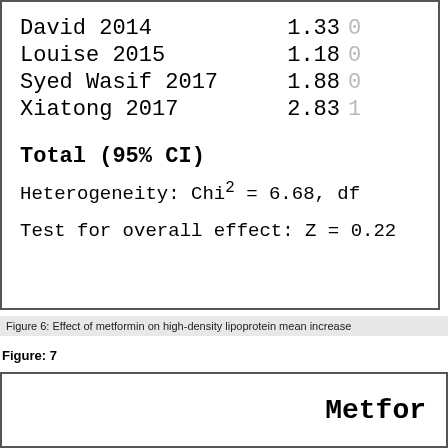[Figure (other): Partial forest plot showing study rows: David 2014 (1.33), Louise 2015 (1.18), Syed Wasif 2017 (1.88), Xiatong 2017 (2.83), Total (95% CI), Heterogeneity: Chi² = 6.68 df, Test for overall effect: Z = 0.22]
Figure 6: Effect of metformin on high-density lipoprotein mean increase
Figure: 7
[Figure (other): Partial figure box showing start of Figure 7 with title 'Metfor...' (truncated)]